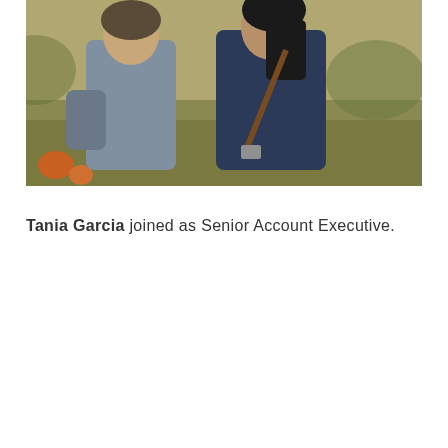[Figure (photo): Outdoor photo of two people wearing jackets in a field setting. One person on the left wears a grey hoodie, the other on the right wears a dark navy jacket with a brown bag strap. Background shows dry grass and pumpkins.]
Tania Garcia joined as Senior Account Executive.